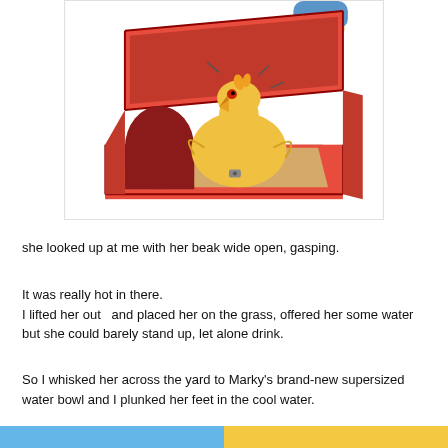[Figure (illustration): Illustration of a yellow chicken/hen inside an open red litter-box-style container, beak open wide, with a human hand lifting the lid. The hen appears distressed, with motion lines around it.]
she looked up at me with her beak wide open, gasping.
It was really hot in there.
I lifted her out  and placed her on the grass, offered her some water but she could barely stand up, let alone drink.
So I whisked her across the yard to Marky's brand-new supersized water bowl and I plunked her feet in the cool water.